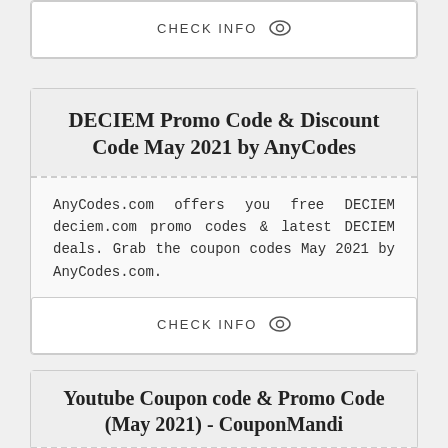[Figure (other): CHECK INFO button with eye icon (partial card at top)]
DECIEM Promo Code & Discount Code May 2021 by AnyCodes
AnyCodes.com offers you free DECIEM deciem.com promo codes & latest DECIEM deals. Grab the coupon codes May 2021 by AnyCodes.com.
[Figure (other): CHECK INFO button with eye icon]
Youtube Coupon code & Promo Code (May 2021) - CouponMandi